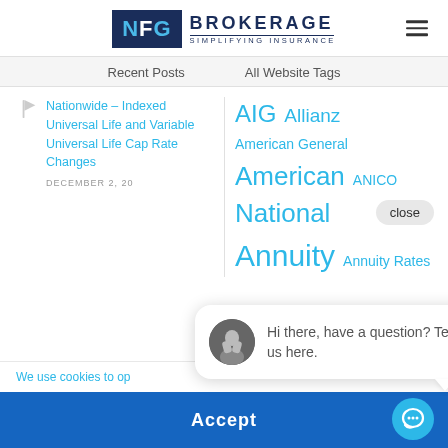[Figure (logo): NFG Brokerage - Simplifying Insurance logo with dark blue background and white/cyan letters]
Recent Posts
All Website Tags
Nationwide – Indexed Universal Life and Variable Universal Life Cap Rate Changes
DECEMBER 2, 20
AIG
Allianz
American General
American National
ANICO
Annuity
Annuity Rates
close
Hi there, have a question? Text us here.
We use cookies to op
Accept